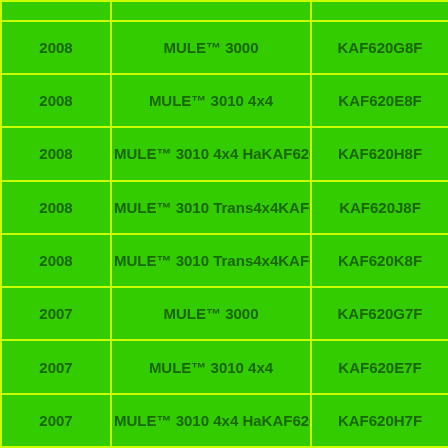| Year | Model | Code |
| --- | --- | --- |
| 2008 | MULE™ 3000 | KAF620G8F |
| 2008 | MULE™ 3010 4x4 | KAF620E8F |
| 2008 | MULE™ 3010 4x4 Hardwoods Green Hi | KAF620H8F |
| 2008 | MULE™ 3010 Trans4x4 | KAF620J8F |
| 2008 | MULE™ 3010 Trans4x4 Hardwoods G | KAF620K8F |
| 2007 | MULE™ 3000 | KAF620G7F |
| 2007 | MULE™ 3010 4x4 | KAF620E7F |
| 2007 | MULE™ 3010 4x4 Hardwoods Green Hi | KAF620H7F |